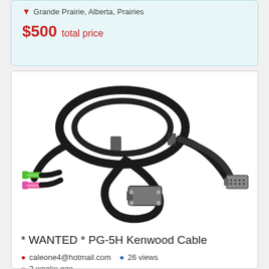Grande Prairie, Alberta, Prairies
$500 total price
[Figure (photo): Photo of a black computer/audio cable set with green and pink 3.5mm audio connectors on one end and a DB9 serial connector on the other end, coiled on a white background.]
* WANTED * PG-5H Kenwood Cable
caleone4@hotmail.com  26 views
3 weeks ago